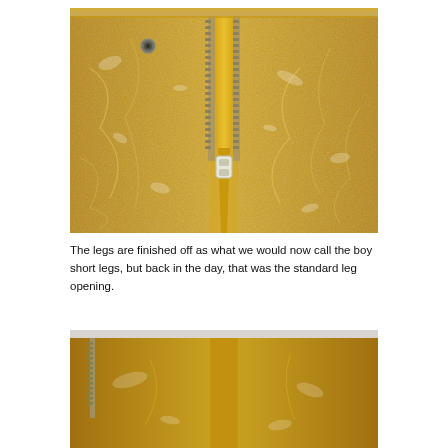[Figure (photo): Close-up photo of a gold/yellow metallic shimmering fabric garment with a zipper running vertically down the center. The zipper has a white/silver pull tab at the bottom. A metal snap is visible at the top left. The fabric has a crushed velvet or lamé texture with silver shimmer.]
The legs are finished off as what we would now call the boy short legs, but back in the day, that was the standard leg opening.
[Figure (photo): Partial close-up photo of the same gold/yellow metallic fabric garment showing the leg area with a zipper visible on the left side.]